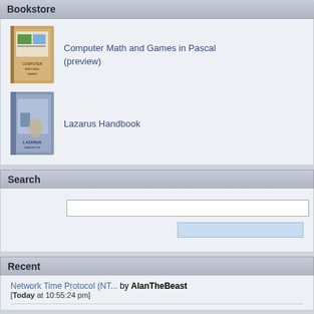Bookstore
[Figure (illustration): Book cover for Computer Math and Games in Pascal]
Computer Math and Games in Pascal (preview)
[Figure (illustration): Book cover for Lazarus Handbook]
Lazarus Handbook
Search
Recent
Network Time Protocol (NT... by AlanTheBeast [Today at 10:55:24 pm]